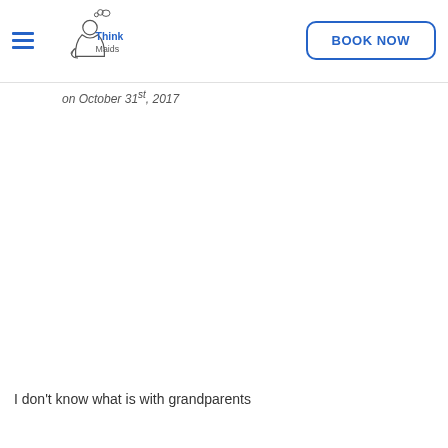Think Maids
on October 31st, 2017
I don't know what is with grandparents